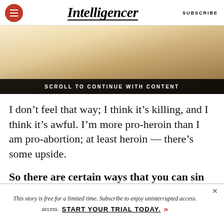Intelligencer  SUBSCRIBE
[Figure (photo): Warm-toned lifestyle photo of a person in white, with a horizontal black bar at the bottom reading SCROLL TO CONTINUE WITH CONTENT]
I don’t feel that way; I think it’s killing, and I think it’s awful. I’m more pro-heroin than I am pro-abortion; at least heroin — there’s some upside.
So there are certain ways that you can sin against the liberal consensus …
This story is free for a limited time. Subscribe to enjoy uninterrupted access.  START YOUR TRIAL TODAY.